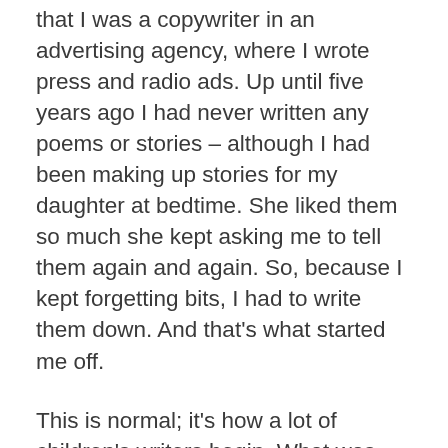that I was a copywriter in an advertising agency, where I wrote press and radio ads. Up until five years ago I had never written any poems or stories – although I had been making up stories for my daughter at bedtime. She liked them so much she kept asking me to tell them again and again. So, because I kept forgetting bits, I had to write them down. And that's what started me off.
This is normal; it's how a lot of children's writers begin. What was strange, though, was that I found myself writing in rhyme, quite by accident. I don't really know why, it was just there. I guess I somehow picked it up from my mother. She was a speech and drama teacher when I was growing up, and she used to write